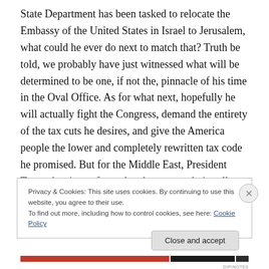State Department has been tasked to relocate the Embassy of the United States in Israel to Jerusalem, what could he ever do next to match that? Truth be told, we probably have just witnessed what will be determined to be one, if not the, pinnacle of his time in the Oval Office. As for what next, hopefully he will actually fight the Congress, demand the entirety of the tax cuts he desires, and give the America people the lower and completely rewritten tax code he promised. But for the Middle East, President Trump has just reformed and rearranged virtually everything. Jerusalem will now remain forever the
Privacy & Cookies: This site uses cookies. By continuing to use this website, you agree to their use.
To find out more, including how to control cookies, see here: Cookie Policy
Close and accept